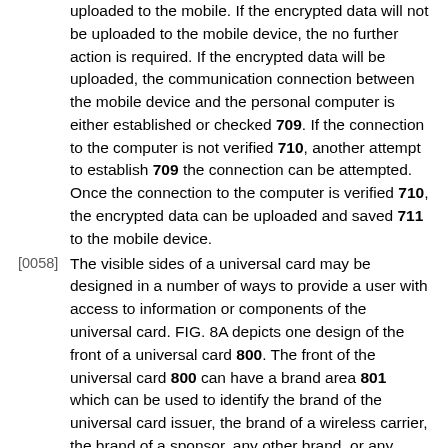uploaded to the mobile. If the encrypted data will not be uploaded to the mobile device, the no further action is required. If the encrypted data will be uploaded, the communication connection between the mobile device and the personal computer is either established or checked 709. If the connection to the computer is not verified 710, another attempt to establish 709 the connection can be attempted. Once the connection to the computer is verified 710, the encrypted data can be uploaded and saved 711 to the mobile device.
[0058] The visible sides of a universal card may be designed in a number of ways to provide a user with access to information or components of the universal card. FIG. 8A depicts one design of the front of a universal card 800. The front of the universal card 800 can have a brand area 801 which can be used to identify the brand of the universal card issuer, the brand of a wireless carrier, the brand of a sponsor, any other brand, or any combination of those brands. The front of the universal card 800 can have the name of the card holder 802 on the face of the card to identify the